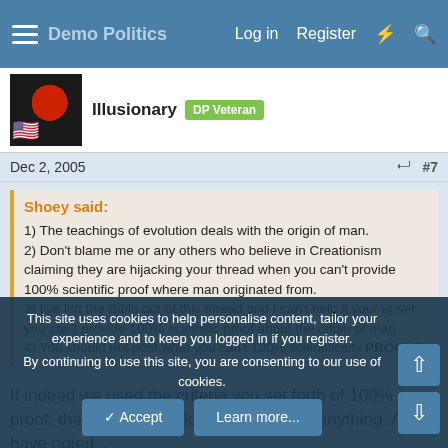Log in  Register
Illusionary  DP Veteran
Dec 2, 2005  #7
Shoey said:
1) The teachings of evolution deals with the origin of man.
2) Don't blame me or any others who believe in Creationism claiming they are hijacking your thread when you can't provide 100% scientific proof where man originated from.
3) I've left the Bible out of this thread and I can't help it your upset you can't provide 100% scientific proof about the origin of man.
4) You should not post what you can't 100% scientifically PROOVE!
If indeed we used the criteria you set forth of 100% proof, then no one would be able to post anything. As I have noted...
This site uses cookies to help personalise content, tailor your experience and to keep you logged in if you register.
By continuing to use this site, you are consenting to our use of cookies.